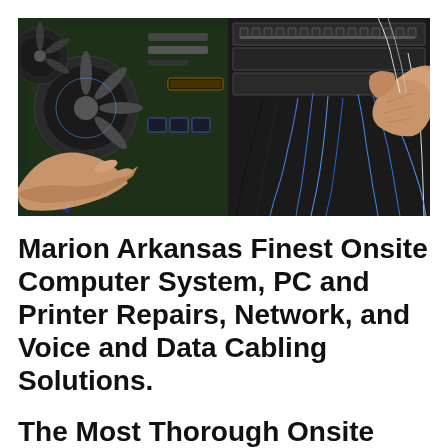[Figure (photo): Close-up photo of hands working on computer hardware — motherboard with blue cooling fans on the left, and a bundle of blue ethernet/data cables being plugged into a patch panel on the right.]
Marion Arkansas Finest Onsite Computer System, PC and Printer Repairs, Network, and Voice and Data Cabling Solutions.
The Most Thorough Onsite Tech